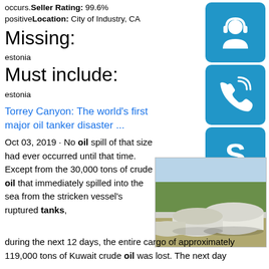occurs. Seller Rating: 99.6% positive Location: City of Industry, CA
Missing:
estonia
Must include:
estonia
Torrey Canyon: The world's first major oil tanker disaster ...
Oct 03, 2019 · No oil spill of that size had ever occurred until that time. Except from the 30,000 tons of crude oil that immediately spilled into the sea from the stricken vessel's ruptured tanks, during the next 12 days, the entire cargo of approximately 119,000 tons of Kuwait crude oil was lost. The next day
[Figure (photo): Large white cylindrical oil storage tanks outdoors with trees in background]
[Figure (infographic): Three blue icon buttons: headset/support icon, phone/call icon, Skype icon]